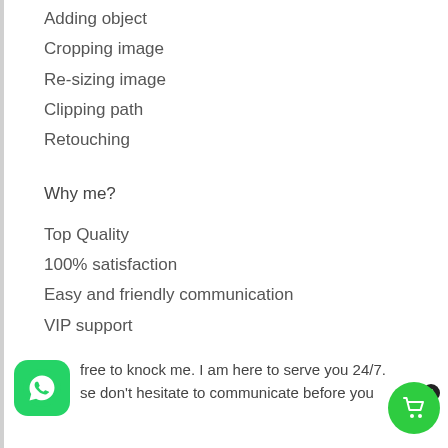Adding object
Cropping image
Re-sizing image
Clipping path
Retouching
Why me?
Top Quality
100% satisfaction
Easy and friendly communication
VIP support
Fast customer service
Unlimited revision
free to knock me. I am here to serve you 24/7. se don't hesitate to communicate before you